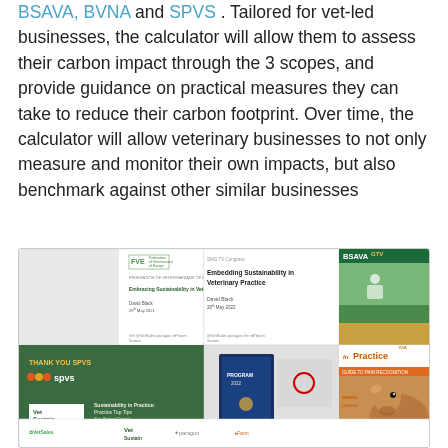BSAVA, BVNA and SPVS . Tailored for vet-led businesses, the calculator will allow them to assess their carbon impact through the 3 scopes, and provide guidance on practical measures they can take to reduce their carbon footprint. Over time, the calculator will allow veterinary businesses to not only measure and monitor their own impacts, but also benchmark against other similar businesses
[Figure (photo): Collage of presentation slides and materials about sustainability in veterinary practice, including FVE Federation of Veterinarians of Europe slide, SMG TV Congress slide on Embedding Sustainability in Veterinary Practice by David Black, BSAVA GTV image, Thank You SPVS slide with Vet Sustain branding, a program document with certificate, and an InPractice magazine cover with a calf.]